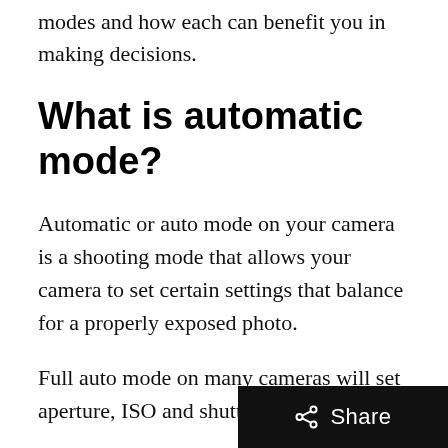modes and how each can benefit you in making decisions.
What is automatic mode?
Automatic or auto mode on your camera is a shooting mode that allows your camera to set certain settings that balance for a properly exposed photo.
Full auto mode on many cameras will set aperture, ISO and shutter speed for you.
There are also other auto modes as well